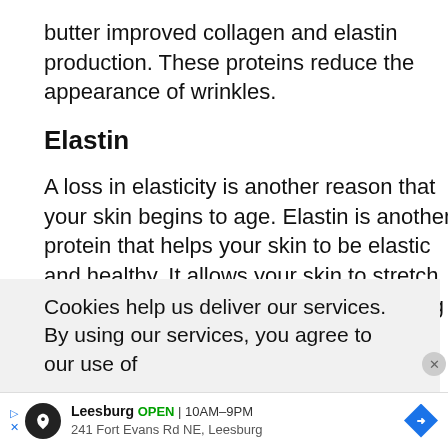butter improved collagen and elastin production. These proteins reduce the appearance of wrinkles.
Elastin
A loss in elasticity is another reason that your skin begins to age. Elastin is another protein that helps your skin to be elastic and healthy. It allows your skin to stretch and be able to recover after experiencing stress.
Cookies help us deliver our services. By using our services, you agree to our use of
Leesburg OPEN | 10AM–9PM 241 Fort Evans Rd NE, Leesburg